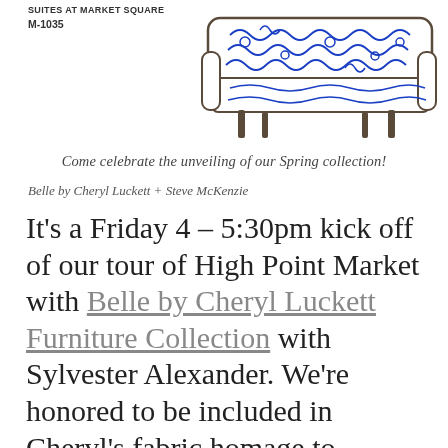SUITES AT MARKET SQUARE
M-1035
[Figure (illustration): A decorative sofa/settee with blue and white swirling pattern upholstery on a dark frame with ornate legs]
Come celebrate the unveiling of our Spring collection!
Belle by Cheryl Luckett + Steve McKenzie
It's a Friday 4 – 5:30pm kick off of our tour of High Point Market with Belle by Cheryl Luckett Furniture Collection with Sylvester Alexander. We're honored to be included in Cheryl's fabric homage to